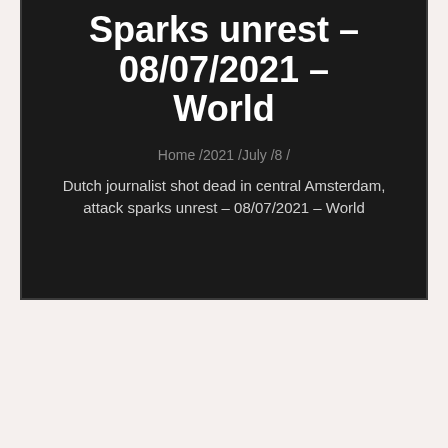Sparks unrest – 08/07/2021 – World
Home /2021 /July /8 /
Dutch journalist shot dead in central Amsterdam, attack sparks unrest – 08/07/2021 – World